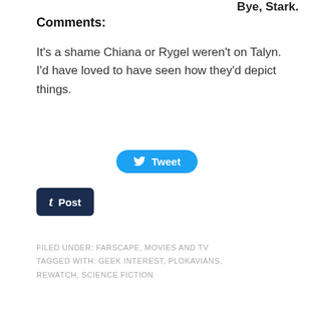Bye, Stark.
Comments:
It's a shame Chiana or Rygel weren't on Talyn. I'd have loved to have seen how they'd depict things.
[Figure (other): Twitter/Tweet share button (blue pill-shaped button with bird icon and 'Tweet' text)]
[Figure (other): Tumblr Post button (dark navy rounded rectangle with 't' icon and 'Post' text)]
FILED UNDER: FARSCAPE, MOVIES AND TV
TAGGED WITH: GEEK INTEREST, PLOKAVIANS, REWATCH, SCIENCE FICTION
Subscribe to my newsletter and get a FREE copy of Four Fantastical Ways to Lose Your Fingers!